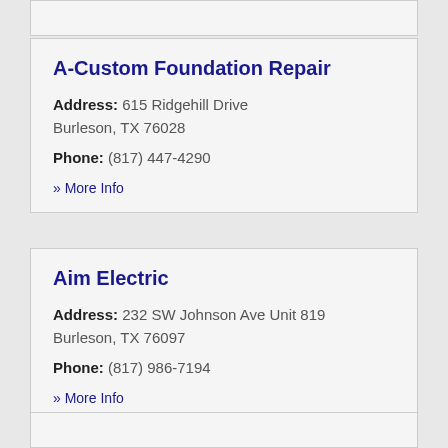A-Custom Foundation Repair
Address: 615 Ridgehill Drive Burleson, TX 76028 Phone: (817) 447-4290
» More Info
Aim Electric
Address: 232 SW Johnson Ave Unit 819 Burleson, TX 76097 Phone: (817) 986-7194
» More Info